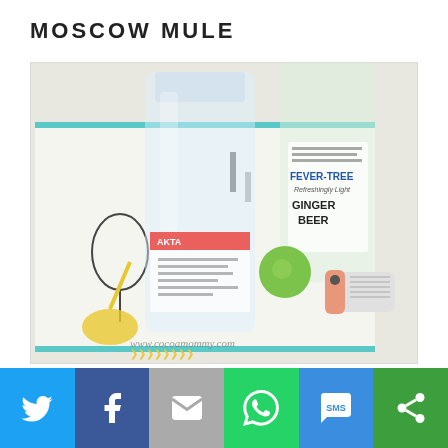MOSCOW MULE
[Figure (photo): Photo of Moscow Mule ingredients on a patterned tray: a clear bottle of vodka (AKTA brand), a green lime, a Fever-Tree Ginger Beer bottle, and a small cylindrical device. Watermark: www.cocoamommy.com]
[Figure (infographic): Social sharing bar with Twitter, Facebook, Email, WhatsApp, SMS, and More icons]